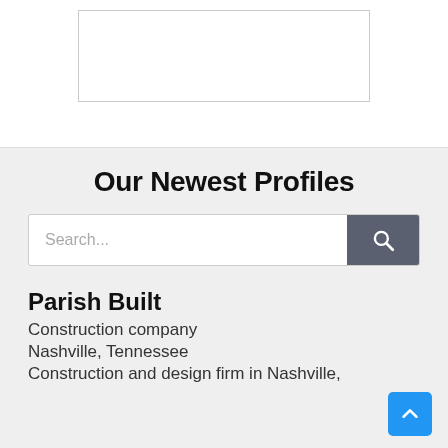[Figure (other): Empty white rectangle with border, likely a placeholder image or logo area]
Our Newest Profiles
[Figure (screenshot): Search bar with text input placeholder 'Search...' and a dark gray search button with magnifying glass icon]
Parish Built
Construction company
Nashville, Tennessee
Construction and design firm in Nashville,